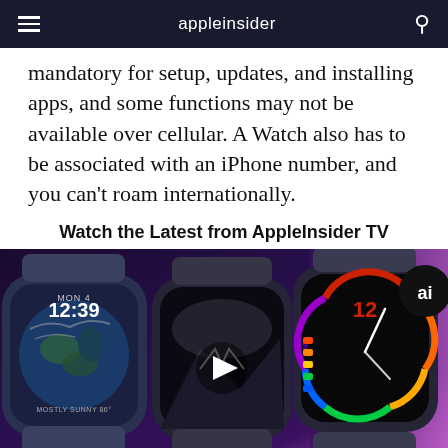appleinsider
mandatory for setup, updates, and installing apps, and some functions may not be available over cellular. A Watch also has to be associated with an iPhone number, and you can't roam internationally.
Watch the Latest from AppleInsider TV
[Figure (photo): Three Apple Watch models shown side by side. Left watch shows a weather/earth watchface with MON 4, 12:39, MOSTLY SUNNY 86. Middle watch shows a dark scenic watchface with a play button overlay. Right watch shows a colorful numbered watchface. An 'ai' badge appears in the top-right corner.]